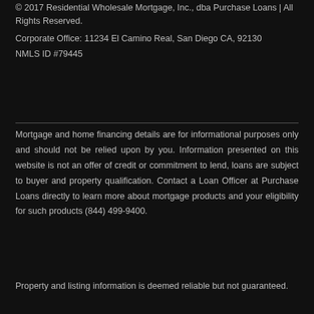© 2017 Residential Wholesale Mortgage, Inc., dba Purchase Loans | All Rights Reserved.
Corporate Office: 11234 El Camino Real, San Diego CA, 92130
NMLS ID #79445
Mortgage and home financing details are for informational purposes only and should not be relied upon by you. Information presented on this website is not an offer of credit or commitment to lend, loans are subject to buyer and property qualification. Contact a Loan Officer at Purchase Loans directly to learn more about mortgage products and your eligibility for such products (844) 499-9400.
Property and listing information is deemed reliable but not guaranteed.